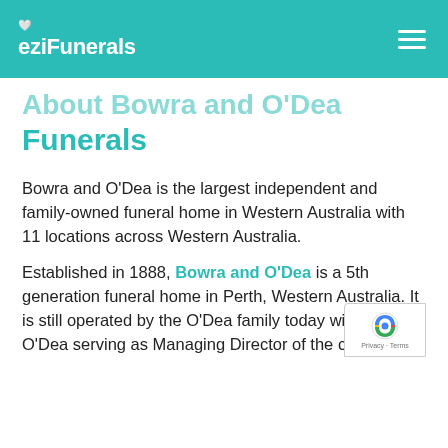eziFunerals
About Bowra and O'Dea Funerals
Bowra and O'Dea is the largest independent and family-owned funeral home in Western Australia with 11 locations across Western Australia.
Established in 1888, Bowra and O'Dea is a 5th generation funeral home in Perth, Western Australia. It is still operated by the O'Dea family today with Joe O'Dea serving as Managing Director of the company.
[Figure (logo): reCAPTCHA badge with logo and Privacy · Terms text]